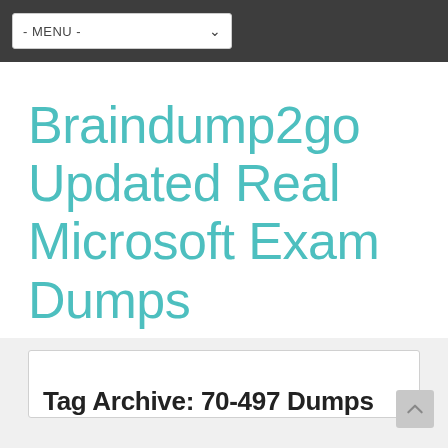- MENU -
Braindump2go Updated Real Microsoft Exam Dumps PDF&VCE
[Figure (screenshot): Search bar with teal search button and magnifying glass icon]
- MENU -
Tag Archive: 70-497 Dumps